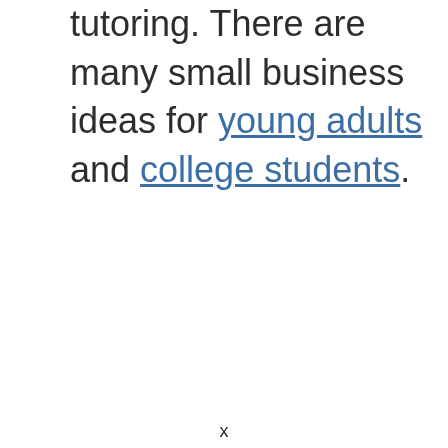tutoring. There are many small business ideas for young adults and college students.
x